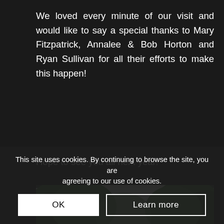We loved every minute of our visit and would like to say a special thanks to Mary Fitzpatrick, Annalee & Bob Horton and Ryan Sullivan for all their efforts to make this happen!
Hope to see you all next year!
[Figure (photo): Group photo of children and adults outdoors among green trees, with bright sky in background]
This site uses cookies. By continuing to browse the site, you are agreeing to our use of cookies.